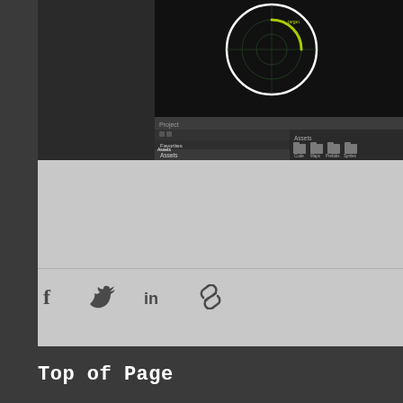[Figure (screenshot): Unity IDE/editor screenshot showing a dark-themed interface. Top portion shows a circular radar/sonar-like visualization on a black background with a white circle and a yellow-green arc. Bottom portion shows the Project panel with a Favorites section and Assets folder containing subfolders: Code, Maps, Prefabs, Sprites. The Assets panel shows folder icons labeled Code, Maps, Prefabs, Sprites.]
[Figure (infographic): Social sharing icons row: Facebook (f), Twitter bird, LinkedIn (in), and a chain/link icon, displayed in dark gray on a light gray background.]
Top of Page